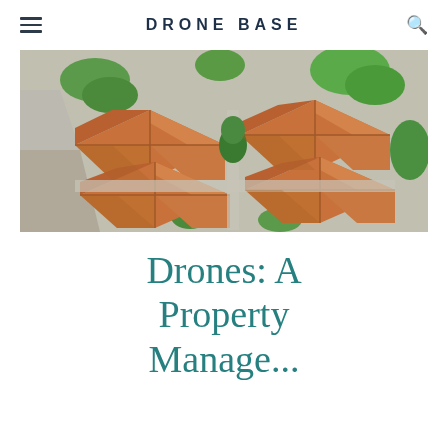DRONE BASE
[Figure (photo): Aerial drone photograph looking straight down at a cluster of residential houses with terracotta/orange tiled rooftops, surrounded by green trees and vegetation, with gray driveways and paths between the properties.]
Drones: A Property Manager's Best...